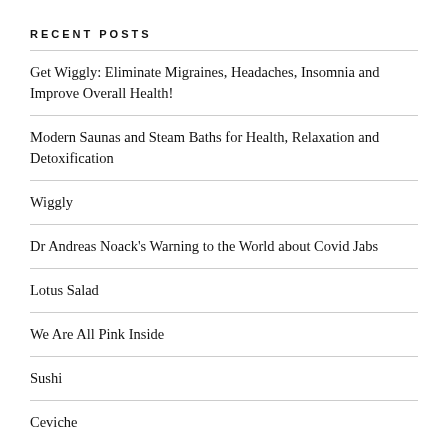RECENT POSTS
Get Wiggly: Eliminate Migraines, Headaches, Insomnia and Improve Overall Health!
Modern Saunas and Steam Baths for Health, Relaxation and Detoxification
Wiggly
Dr Andreas Noack's Warning to the World about Covid Jabs
Lotus Salad
We Are All Pink Inside
Sushi
Ceviche